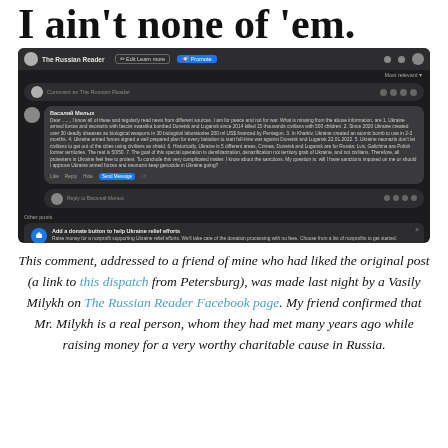I ain't none of 'em.
[Figure (screenshot): Facebook page screenshot showing The Russian Reader page with a long comment by Василий Милых containing Russian propaganda talking points about Ukraine, and a donate button card for Ukraine relief efforts.]
This comment, addressed to a friend of mine who had liked the original post (a link to this dispatch from Petersburg), was made last night by a Vasily Milykh on The Russian Reader Facebook page. My friend confirmed that Mr. Milykh is a real person, whom they had met many years ago while raising money for a very worthy charitable cause in Russia.